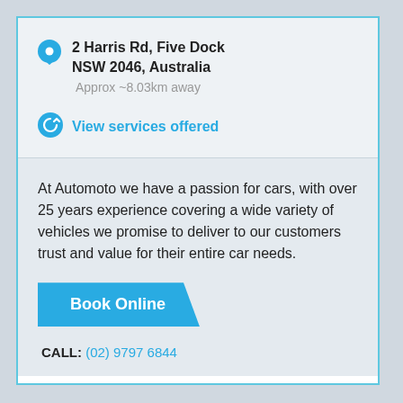2 Harris Rd, Five Dock NSW 2046, Australia
Approx ~8.03km away
View services offered
At Automoto we have a passion for cars, with over 25 years experience covering a wide variety of vehicles we promise to deliver to our customers trust and value for their entire car needs.
Book Online
CALL: (02) 9797 6844